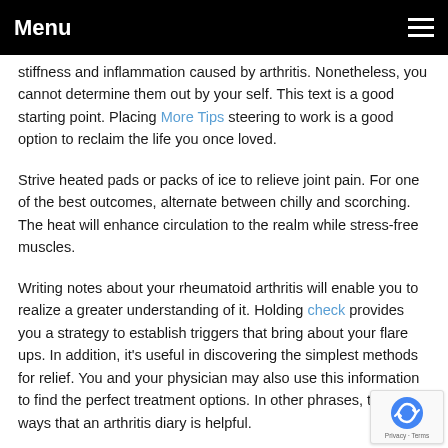Menu
stiffness and inflammation caused by arthritis. Nonetheless, you cannot determine them out by your self. This text is a good starting point. Placing More Tips steering to work is a good option to reclaim the life you once loved.
Strive heated pads or packs of ice to relieve joint pain. For one of the best outcomes, alternate between chilly and scorching. The heat will enhance circulation to the realm while stress-free muscles.
Writing notes about your rheumatoid arthritis will enable you to realize a greater understanding of it. Holding check provides you a strategy to establish triggers that bring about your flare ups. In addition, it's useful in discovering the simplest methods for relief. You and your physician may also use this information to find the perfect treatment options. In other phrases, the lot of ways that an arthritis diary is helpful.